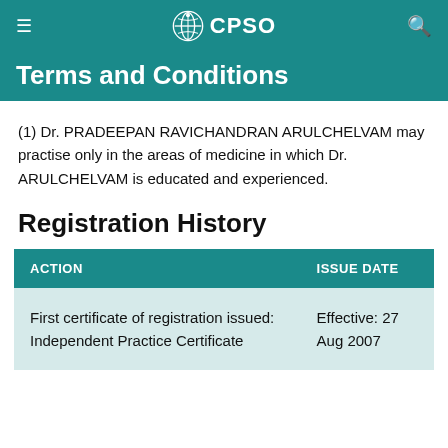CPSO
Terms and Conditions
(1) Dr. PRADEEPAN RAVICHANDRAN ARULCHELVAM may practise only in the areas of medicine in which Dr. ARULCHELVAM is educated and experienced.
Registration History
| ACTION | ISSUE DATE |
| --- | --- |
| First certificate of registration issued: Independent Practice Certificate | Effective: 27 Aug 2007 |